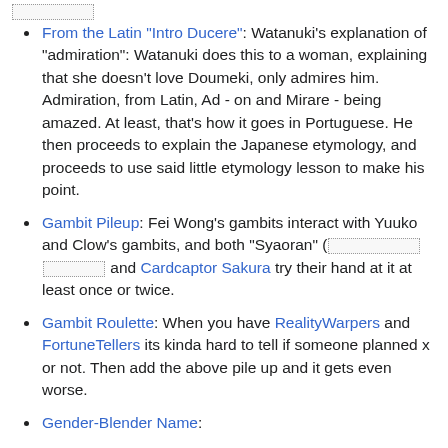From the Latin "Intro Ducere": Watanuki's explanation of "admiration": Watanuki does this to a woman, explaining that she doesn't love Doumeki, only admires him. Admiration, from Latin, Ad - on and Mirare - being amazed. At least, that's how it goes in Portuguese. He then proceeds to explain the Japanese etymology, and proceeds to use said little etymology lesson to make his point.
Gambit Pileup: Fei Wong's gambits interact with Yuuko and Clow's gambits, and both "Syaoran" ([redacted] and Cardcaptor Sakura try their hand at it at least once or twice.
Gambit Roulette: When you have RealityWarpers and FortuneTellers its kinda hard to tell if someone planned x or not. Then add the above pile up and it gets even worse.
Gender-Blender Name: